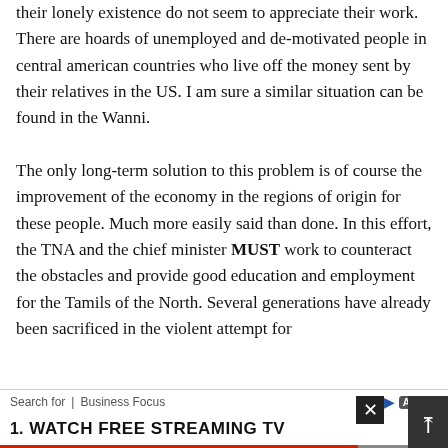their lonely existence do not seem to appreciate their work. There are hoards of unemployed and de-motivated people in central american countries who live off the money sent by their relatives in the US. I am sure a similar situation can be found in the Wanni. The only long-term solution to this problem is of course the improvement of the economy in the regions of origin for these people. Much more easily said than done. In this effort, the TNA and the chief minister MUST work to counteract the obstacles and provide good education and employment for the Tamils of the North. Several generations have already been sacrificed in the violent attempt for
Search for  |  Business Focus
1.  WATCH FREE STREAMING TV